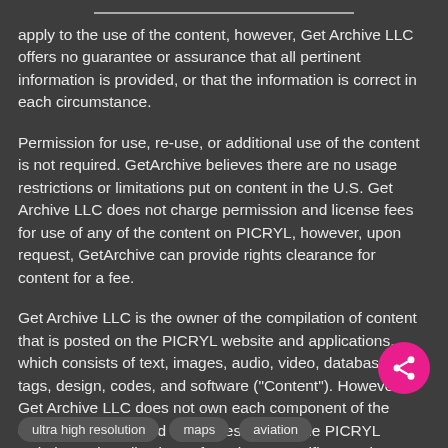apply to the use of the content, however, Get Archive LLC offers no guarantee or assurance that all pertinent information is provided, or that the information is correct in each circumstance.
Permission for use, re-use, or additional use of the content is not required. GetArchive believes there are no usage restrictions or limitations put on content in the U.S. Get Archive LLC does not charge permission and license fees for use of any of the content on PICRYL, however, upon request, GetArchive can provide rights clearance for content for a fee.
Get Archive LLC is the owner of the compilation of content that is posted on the PICRYL website and applications, which consists of text, images, audio, video, databases, tags, design, codes, and software ("Content"). However, Get Archive LLC does not own each component of the compilation displayed and accessible on the PICRYL website and applications. If you have specific questions or information about content, the website, and applications, please contact us.
ultra high resolution
maps
aviation